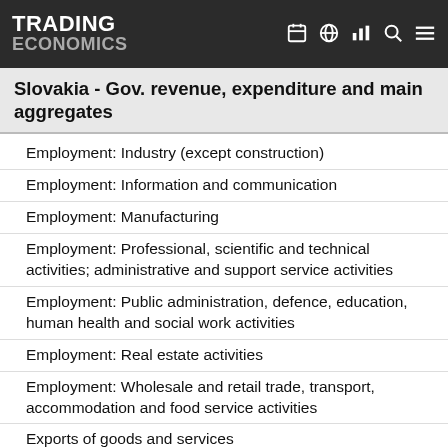TRADING ECONOMICS
Slovakia - Gov. revenue, expenditure and main aggregates
Employment: Industry (except construction)
Employment: Information and communication
Employment: Manufacturing
Employment: Professional, scientific and technical activities; administrative and support service activities
Employment: Public administration, defence, education, human health and social work activities
Employment: Real estate activities
Employment: Wholesale and retail trade, transport, accommodation and food service activities
Exports of goods and services
Exports of goods and services in % of GDP
Final consumption expenditure of general gov.
Final consumption expenditure of households
Final consumption expenditure of households and NPISH, volumes
Final consumption expenditure of households: Alcoholic